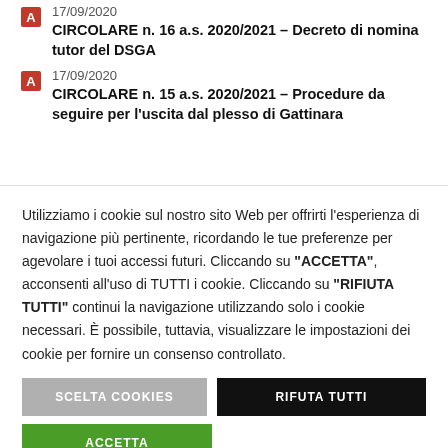17/09/2020 CIRCOLARE n. 16 a.s. 2020/2021 – Decreto di nomina tutor del DSGA
17/09/2020 CIRCOLARE n. 15 a.s. 2020/2021 – Procedure da seguire per l'uscita dal plesso di Gattinara
Utilizziamo i cookie sul nostro sito Web per offrirti l'esperienza di navigazione più pertinente, ricordando le tue preferenze per agevolare i tuoi accessi futuri. Cliccando su "ACCETTA", acconsenti all'uso di TUTTI i cookie. Cliccando su "RIFIUTA TUTTI" continui la navigazione utilizzando solo i cookie necessari. È possibile, tuttavia, visualizzare le impostazioni dei cookie per fornire un consenso controllato.
SCELTA COOKIES
RIFUTA TUTTI
ACCETTA